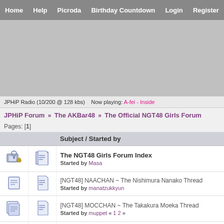Home  Help  Picroda  Birthday Countdown  Login  Register
[Figure (other): Gray banner/advertisement area]
JPHiP Radio (10/200 @ 128 kbs)   Now playing: A-fei - Inside
JPHiP Forum » The AKBar48 » The Official NGT48 Girls Forum
Pages: [1]
|  |  | Subject / Started by |
| --- | --- | --- |
| [icon] | [icon] | The NGT48 Girls Forum Index
Started by Masa |
| [icon] | [icon] | [NGT48] NAACHAN ~ The Nishimura Nanako Thread
Started by manatzukkyun |
| [icon] | [icon] | [NGT48] MOCCHAN ~ The Takakura Moeka Thread
Started by muppet « 1 2 » |
| [icon] | [icon] | [NGT48] YUURIN ~ The Kado Yuria Thread
Started by manatzukkyun |